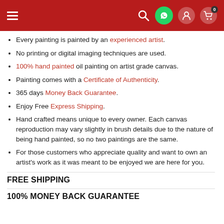Navigation header with hamburger menu, search, WhatsApp, user, and cart icons
Every painting is painted by an experienced artist.
No printing or digital imaging techniques are used.
100% hand painted oil painting on artist grade canvas.
Painting comes with a Certificate of Authenticity.
365 days Money Back Guarantee.
Enjoy Free Express Shipping.
Hand crafted means unique to every owner. Each canvas reproduction may vary slightly in brush details due to the nature of being hand painted, so no two paintings are the same.
For those customers who appreciate quality and want to own an artist's work as it was meant to be enjoyed we are here for you.
FREE SHIPPING
100% MONEY BACK GUARANTEE